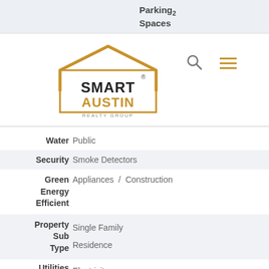Parking 2 Spaces
[Figure (logo): Smart Austin Realty Group logo with house outline in gold and black text]
Water  Public
Security  Smoke Detectors
Green Energy Efficient  Appliances / Construction
Property Sub Type  Single Family / Residence
Utilities  Electricity / Available / Phone Available / Sewer Connected / Underground Utilities / Water